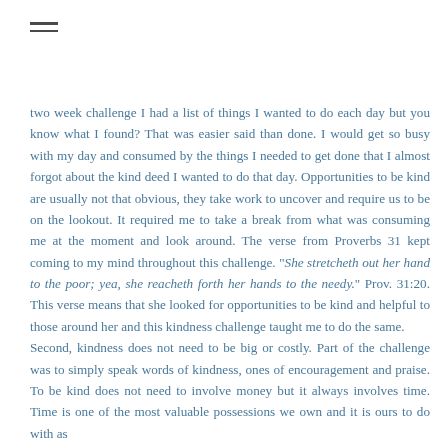two week challenge I had a list of things I wanted to do each day but you know what I found? That was easier said than done. I would get so busy with my day and consumed by the things I needed to get done that I almost forgot about the kind deed I wanted to do that day. Opportunities to be kind are usually not that obvious, they take work to uncover and require us to be on the lookout. It required me to take a break from what was consuming me at the moment and look around. The verse from Proverbs 31 kept coming to my mind throughout this challenge. "She stretcheth out her hand to the poor; yea, she reacheth forth her hands to the needy." Prov. 31:20. This verse means that she looked for opportunities to be kind and helpful to those around her and this kindness challenge taught me to do the same.
Second, kindness does not need to be big or costly. Part of the challenge was to simply speak words of kindness, ones of encouragement and praise. To be kind does not need to involve money but it always involves time. Time is one of the most valuable possessions we own and it is ours to do with as